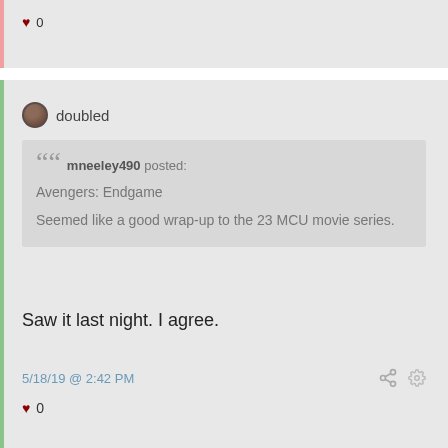♥ 0
doubled
mneeley490 posted:
Avengers: Endgame
Seemed like a good wrap-up to the 23 MCU movie series.
Saw it last night.  I agree.
5/18/19 @ 2:42 PM
♥ 0